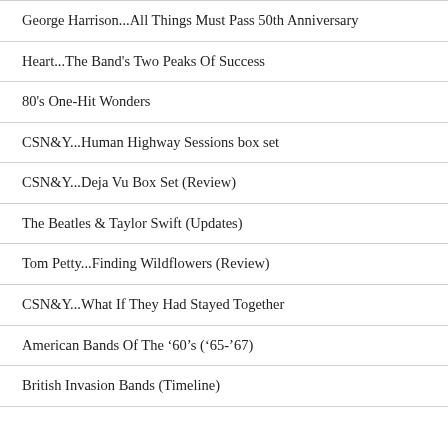George Harrison...All Things Must Pass 50th Anniversary
Heart...The Band's Two Peaks Of Success
80's One-Hit Wonders
CSN&Y...Human Highway Sessions box set
CSN&Y...Deja Vu Box Set (Review)
The Beatles & Taylor Swift (Updates)
Tom Petty...Finding Wildflowers (Review)
CSN&Y...What If They Had Stayed Together
American Bands Of The ’60’s (’65-’67)
British Invasion Bands (Timeline)